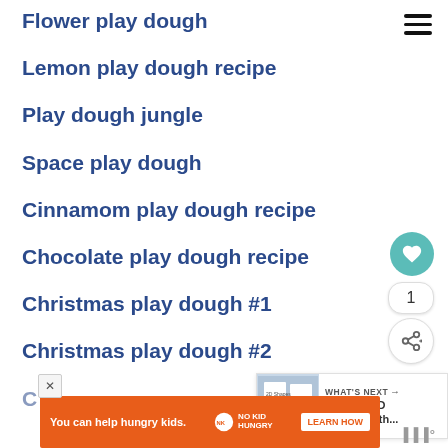Flower play dough
Lemon play dough recipe
Play dough jungle
Space play dough
Cinnamom play dough recipe
Chocolate play dough recipe
Christmas play dough #1
Christmas play dough #2
[Figure (other): Hamburger menu icon (three horizontal bars)]
[Figure (other): Heart/favorite button (teal circle with white heart icon)]
1
[Figure (other): Share button (circle with share icon)]
[Figure (other): What's Next thumbnail preview for Painting 2D Shapes with...]
WHAT'S NEXT → Painting 2D Shapes with...
[Figure (other): Advertisement banner: You can help hungry kids. No Kid Hungry. LEARN HOW]